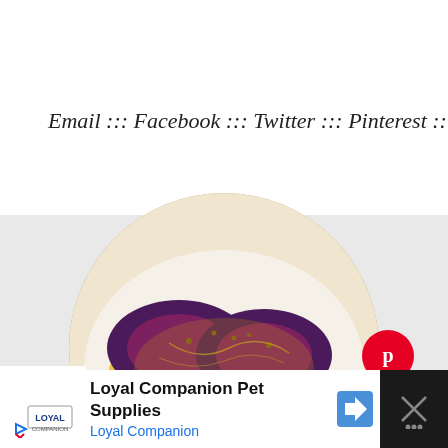Email ::: Facebook ::: Twitter ::: Pinterest ::: Instagram
[Figure (photo): Circular cropped food photo showing two dessert cups filled with yellow custard/pudding topped with dark purple berry compote, garnished with seeds, on a white plate with blueberries scattered around. A Pinterest save button (red circle with white P logo) overlays the bottom right of the image area.]
[Figure (other): Advertisement banner for Loyal Companion Pet Supplies showing the Loyal Companion logo on white background, company name in bold, and a blue navigation arrow icon on the right side. Dark/black bar on the far right with an X close button.]